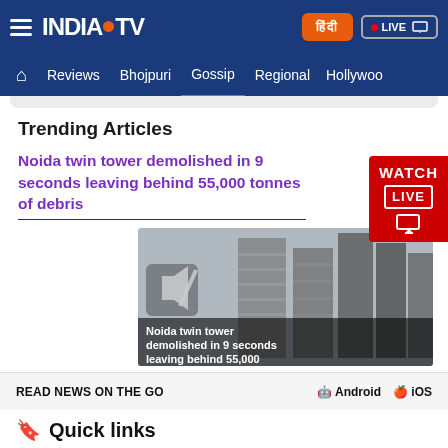INDIA TV - Navigation bar with logo, Hindi button, LIVE button
Reviews | Bhojpuri | Gossip | Regional | Hollywoo
Trending Articles
Noida twin tower demolished in 9 seconds leaving behind 55,000 tonnes of debris
[Figure (screenshot): Video thumbnail showing Noida twin tower demolition with overlay text: Noida twin tower demolished in 9 seconds leaving behind 55,000]
[Figure (infographic): WATCH LIVE badge in red]
READ NEWS ON THE GO
Android  iOS
Quick links